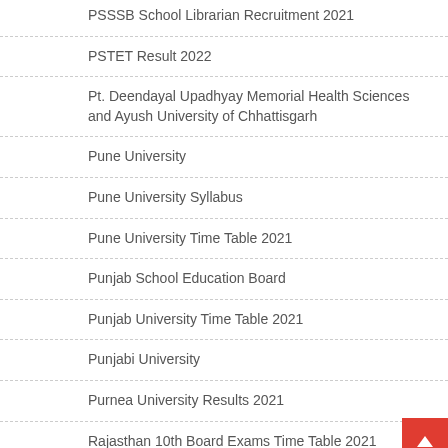PSSSB School Librarian Recruitment 2021
PSTET Result 2022
Pt. Deendayal Upadhyay Memorial Health Sciences and Ayush University of Chhattisgarh
Pune University
Pune University Syllabus
Pune University Time Table 2021
Punjab School Education Board
Punjab University Time Table 2021
Punjabi University
Purnea University Results 2021
Rajasthan 10th Board Exams Time Table 2021
Rajasthan Board